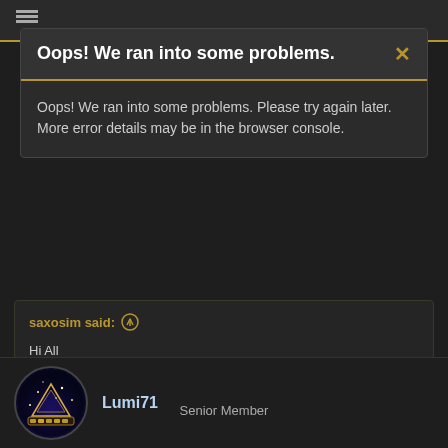Oops! We ran into some problems.
Oops! We ran into some problems. Please try again later. More error details may be in the browser console.
saxosim said:
Hi All

For sale is my super rare 1986 Greco Mint Collection Doublecut. This is an amazing guitar and has had upgrades over the years by the previous owners including a Gibson p90 pickup fitted, bourns pots, a better tortoise pickguard and a better cap fitted. She's seen a life and has been gigged and enjoyed so has plenty of marks, small dings and scratches to show but
Click to expand...
Lumi71
Senior Member